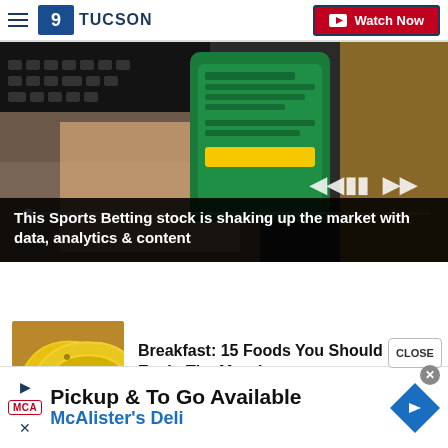9KOLD TUCSON | Watch Now
[Figure (screenshot): Video player showing a person holding a smartphone with a green sports betting interface over a keyboard. Media controls (previous, pause, next) visible. Progress bar at bottom.]
This Sports Betting stock is shaking up the market with data, analytics & content
[Figure (photo): Photo of yellow bananas on a table surface.]
Breakfast: 15 Foods You Should Never Eat In The Morning
HEALTHNATURAL
[Figure (screenshot): Advertisement banner for McAlister's Deli: Pickup & To Go Available, McAlister's Deli, with MCA logo and blue navigation arrow diamond icon.]